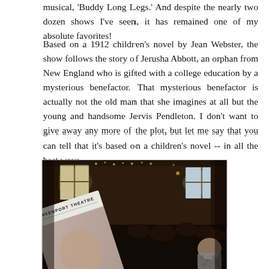musical, 'Buddy Long Legs.' And despite the nearly two dozen shows I've seen, it has remained one of my absolute favorites!
Based on a 1912 children's novel by Jean Webster, the show follows the story of Jerusha Abbott, an orphan from New England who is gifted with a college education by a mysterious benefactor. That mysterious benefactor is actually not the old man that she imagines at all but the young and handsome Jervis Pendleton. I don't want to give away any more of the plot, but let me say that you can tell that it's based on a children's novel -- in all the best ways.
[Figure (photo): A photo taken inside the Davenport Theatre showing the theatre interior with dark wood paneling, windows with light coming through, chandelier lights, and an audience in the foreground. A person is holding up a Davenport Theatre playbill/program in the foreground.]